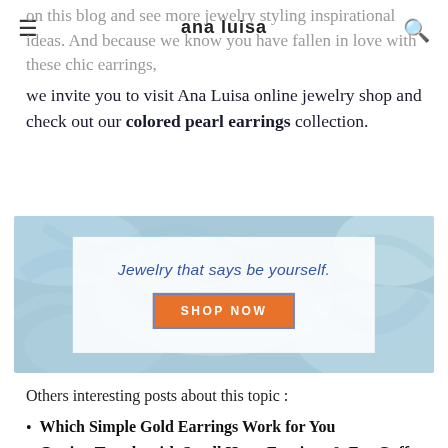ana luisa
on this blog and see more jewelry styling inspirational ideas. And because we know you have fallen in love with these chic earrings, we invite you to visit Ana Luisa online jewelry shop and check out our colored pearl earrings collection.
[Figure (infographic): Ana Luisa jewelry advertisement banner with water/marble blue background, white center panel containing italic text 'Jewelry that says be yourself.' and an orange 'SHOP NOW' button with blue border.]
Others interesting posts about this topic :
Which Simple Gold Earrings Work for You
Getting Trendy with Small Hoop Earrings & Ear Cuffs